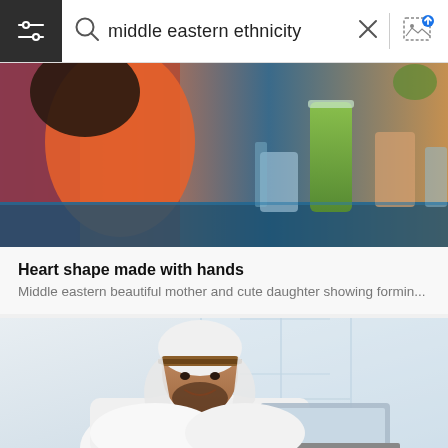middle eastern ethnicity
[Figure (photo): Cropped photo of a woman in an orange/red jacket sitting at a cafe table with a green smoothie drink and glass jars in the background]
Heart shape made with hands
Middle eastern beautiful mother and cute daughter showing formin...
[Figure (photo): A Middle Eastern man wearing a white thobe and brown keffiyeh sitting at a laptop in a bright modern office environment, smiling]